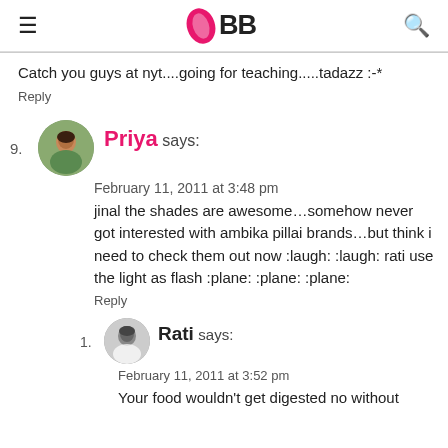IMBB
Catch you guys at nyt....going for teaching.....tadazz :-*
Reply
9. Priya says:
February 11, 2011 at 3:48 pm
jinal the shades are awesome...somehow never got interested with ambika pillai brands...but think i need to check them out now :laugh: :laugh: rati use the light as flash :plane: :plane: :plane:
Reply
1. Rati says:
February 11, 2011 at 3:52 pm
Your food wouldn't get digested no without